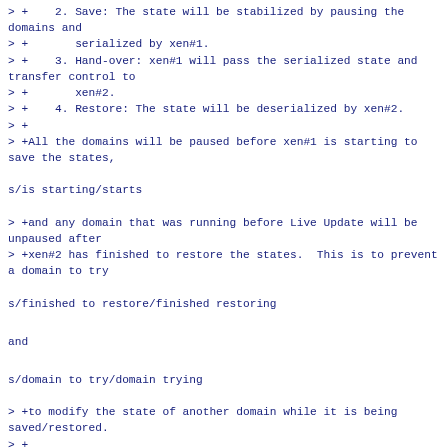> +    2. Save: The state will be stabilized by pausing the domains and
> +       serialized by xen#1.
> +    3. Hand-over: xen#1 will pass the serialized state and transfer control to
> +       xen#2.
> +    4. Restore: The state will be deserialized by xen#2.
> +
> +All the domains will be paused before xen#1 is starting to save the states,
s/is starting/starts
> +and any domain that was running before Live Update will be unpaused after
> +xen#2 has finished to restore the states.  This is to prevent a domain to try
s/finished to restore/finished restoring
and
s/domain to try/domain trying
> +to modify the state of another domain while it is being saved/restored.
> +
> +The current approach could be seen as non-cooperative migration with a twist: